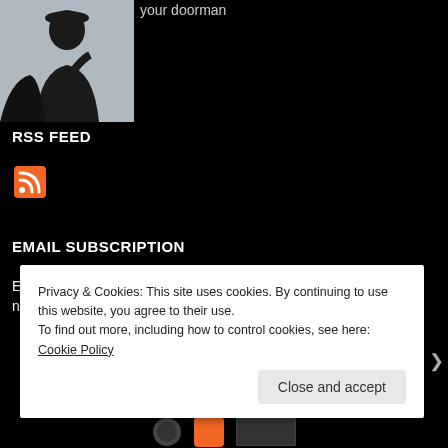[Figure (photo): Silhouette of a person with a beard wearing a flat cap, against a light sky background]
your doorman
RSS FEED
[Figure (logo): RSS feed orange icon]
EMAIL SUBSCRIPTION
Enter your email address to subscribe to this blog and receive notifications of new posts by email.
Privacy & Cookies: This site uses cookies. By continuing to use this website, you agree to their use.
To find out more, including how to control cookies, see here: Cookie Policy
Close and accept